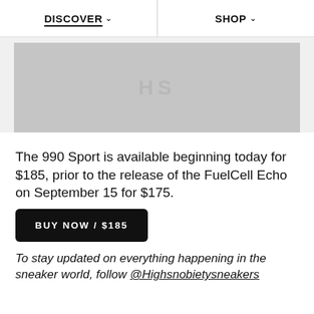DISCOVER ∨   SHOP ∨
[Figure (photo): Gray placeholder image with watermark text 'HS' in the center]
The 990 Sport is available beginning today for $185, prior to the release of the FuelCell Echo on September 15 for $175.
BUY NOW / $185
To stay updated on everything happening in the sneaker world, follow @Highsnobietysneakers